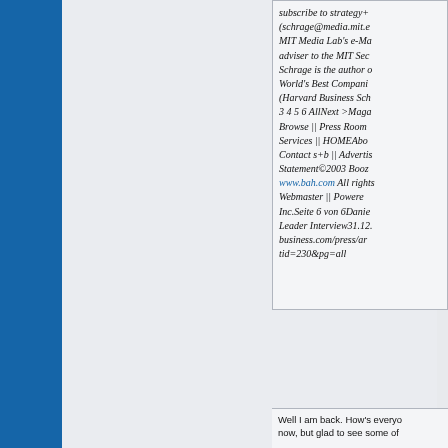subscribe to strategy+ (schrage@media.mit.e... MIT Media Lab's e-Ma... adviser to the MIT Sec... Schrage is the author o... World's Best Compani... (Harvard Business Sch... 3 4 5 6 AllNext >Maga... Browse || Press Room ... Services || HOMEAbou... Contact s+b || Advertis... Statement©2003 Booz... www.bah.com All rights... Webmaster || Powered... Inc.Seite 6 von 6Danie... Leader Interview31.12.... business.com/press/ar... tid=230&pg=all
Well I am back. How's everyo... now, but glad to see some of...